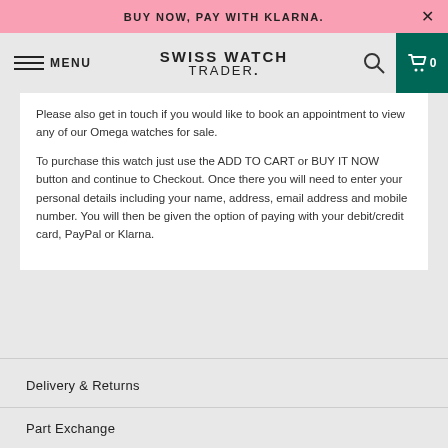BUY NOW, PAY WITH KLARNA.
SWISS WATCH TRADER.
Please also get in touch if you would like to book an appointment to view any of our Omega watches for sale.
To purchase this watch just use the ADD TO CART or BUY IT NOW button and continue to Checkout. Once there you will need to enter your personal details including your name, address, email address and mobile number. You will then be given the option of paying with your debit/credit card, PayPal or Klarna.
Delivery & Returns
Part Exchange